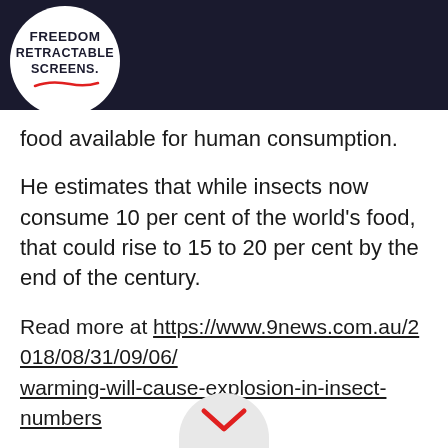Freedom Retractable Screens. 1300 SCREEN 727336
food available for human consumption.
He estimates that while insects now consume 10 per cent of the world's food, that could rise to 15 to 20 per cent by the end of the century.
Read more at https://www.9news.com.au/2018/08/31/09/06/warming-will-cause-explosion-in-insect-numbers